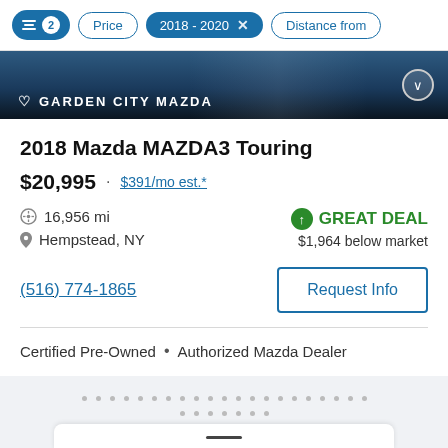Filter controls: [sliders icon] 2 | Price | 2018 - 2020 × | Distance from
[Figure (photo): Partial photo of a dark blue car at Garden City Mazda dealership with chevron button overlay]
2018 Mazda MAZDA3 Touring
$20,995 · $391/mo est.*
16,956 mi
Hempstead, NY
GREAT DEAL · $1,964 below market
(516) 774-1865
Request Info
Certified Pre-Owned • Authorized Mazda Dealer